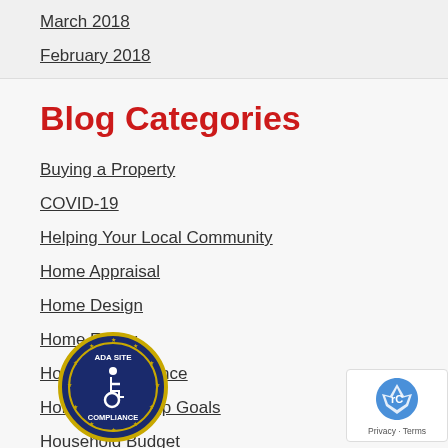March 2018
February 2018
Blog Categories
Buying a Property
COVID-19
Helping Your Local Community
Home Appraisal
Home Design
Home Equity
Home Maintenance
Home Ownership Goals
Household Budget
[Figure (logo): ADA Site Compliance badge with wheelchair accessibility icon]
[Figure (logo): reCAPTCHA badge with Privacy and Terms links]